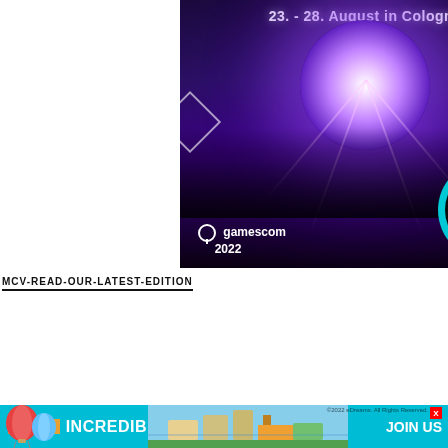[Figure (illustration): Gamescom 2022 advertisement banner. Dark purple/black background with a crowd of people with raised hands, a glowing orb/globe of light above, colorful light beams. Text reads '23. - 28. August in Cologne' at top, gamescom 2022 logo at bottom-left, and a teal circle button saying 'Get your tickets now' at bottom-right.]
MCV-READ-OUR-LATEST-EDITION
[Figure (screenshot): MCV/Develop magazine cover image showing large white bold italic 'MCV' text over a dark navy blue background, with 'DEVELOP' text below a white horizontal line. Right side shows a dark game scene.]
[Figure (illustration): Bottom advertisement banner with teal background. Left side shows a colorful hot air balloon. Center text reads 'WE ARE' in orange box and 'INCREDIBLE VR GAMES' in large white bold text. Right side shows isometric city/game artwork and 'JOIN US' text in white. Top-right has copyright text '©2022 eDreams. All Rights Reserved.' and a red X close button.]